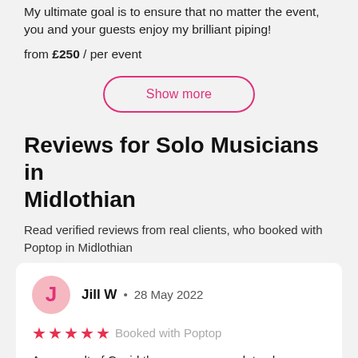My ultimate goal is to ensure that no matter the event, you and your guests enjoy my brilliant piping!
from £250 / per event
Show more
Reviews for Solo Musicians in Midlothian
Read verified reviews from real clients, who booked with Poptop in Midlothian
Jill W · 28 May 2022
★★★★★ Booked with Poptop
As a result of Covid there were many date changes. So it was great my booking was honoured when we were allowed to return to having events. Although not the